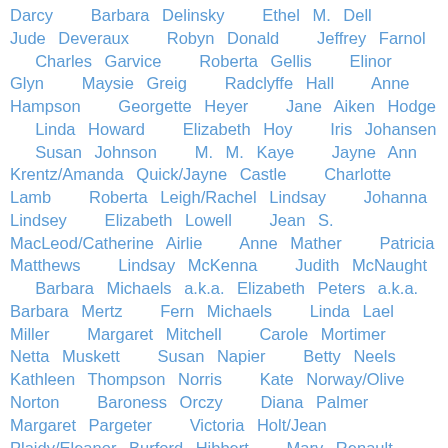Darcy    Barbara Delinsky    Ethel M. Dell    Jude Deveraux    Robyn Donald    Jeffrey Farnol    Charles Garvice    Roberta Gellis    Elinor Glyn    Maysie Greig    Radclyffe Hall    Anne Hampson    Georgette Heyer    Jane Aiken Hodge    Linda Howard    Elizabeth Hoy    Iris Johansen    Susan Johnson    M. M. Kaye    Jayne Ann Krentz/Amanda Quick/Jayne Castle    Charlotte Lamb    Roberta Leigh/Rachel Lindsay    Johanna Lindsey    Elizabeth Lowell    Jean S. MacLeod/Catherine Airlie    Anne Mather    Patricia Matthews    Lindsay McKenna    Judith McNaught    Barbara Michaels a.k.a. Elizabeth Peters a.k.a. Barbara Mertz    Fern Michaels    Linda Lael Miller    Margaret Mitchell    Carole Mortimer    Netta Muskett    Susan Napier    Betty Neels    Kathleen Thompson Norris    Kate Norway/Olive Norton    Baroness Orczy    Diana Palmer    Margaret Pargeter    Victoria Holt/Jean Plaidy/Eleanor Burford Hibbert    Mary Renault    Emilie Richards    Mary Roberts Rinehart    Francine Rivers    Nora Roberts/J. D. Robb    Denise Robins    Rosemary Rogers    Berta Ruck    Kathleen Gilles Seidel    Bertrice Small    LaVyrle Spencer    Mary Stewart    Rebecca Stratton    Essie Summers    Annie S. Swan    Kay Thorpe    Sylvia Thorpe    Karen van der Zee    Patricia Veryan    Lucy Walker    Sheila